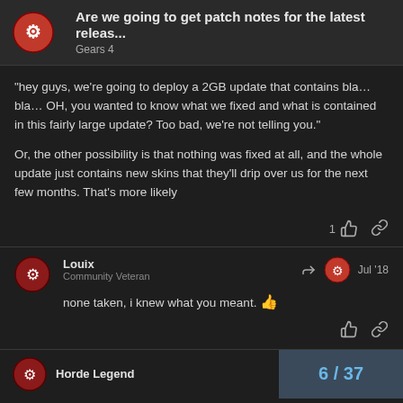Are we going to get patch notes for the latest releas... | Gears 4
"hey guys, we're going to deploy a 2GB update that contains bla… bla… OH, you wanted to know what we fixed and what is contained in this fairly large update? Too bad, we're not telling you."

Or, the other possibility is that nothing was fixed at all, and the whole update just contains new skins that they'll drip over us for the next few months. That's more likely
Louix | Community Veteran | Jul '18
none taken, i knew what you meant. 👍
Horde Legend | 6 / 37